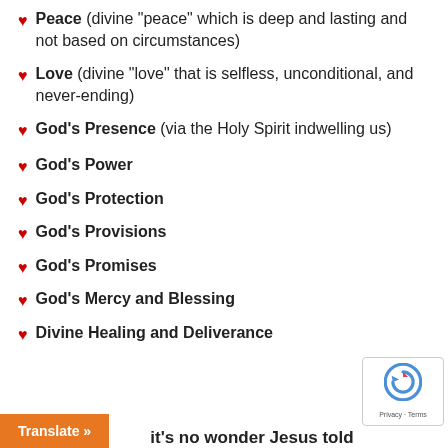Peace (divine “peace” which is deep and lasting and not based on circumstances)
Love (divine “love” that is selfless, unconditional, and never-ending)
God’s Presence (via the Holy Spirit indwelling us)
God’s Power
God’s Protection
God’s Provisions
God’s Promises
God’s Mercy and Blessing
Divine Healing and Deliverance